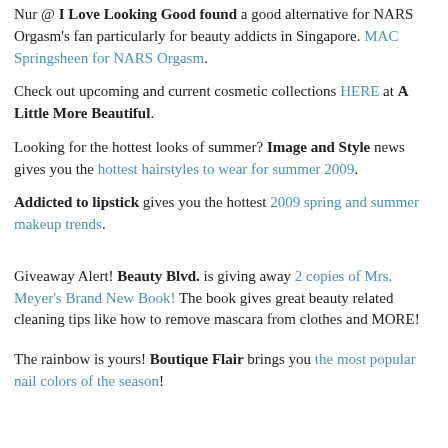Nur @ I Love Looking Good found a good alternative for NARS Orgasm's fan particularly for beauty addicts in Singapore. MAC Springsheen for NARS Orgasm.
Check out upcoming and current cosmetic collections HERE at A Little More Beautiful.
Looking for the hottest looks of summer? Image and Style news gives you the hottest hairstyles to wear for summer 2009.
Addicted to lipstick gives you the hottest 2009 spring and summer makeup trends.
Giveaway Alert! Beauty Blvd. is giving away 2 copies of Mrs. Meyer's Brand New Book! The book gives great beauty related cleaning tips like how to remove mascara from clothes and MORE!
The rainbow is yours! Boutique Flair brings you the most popular nail colors of the season!